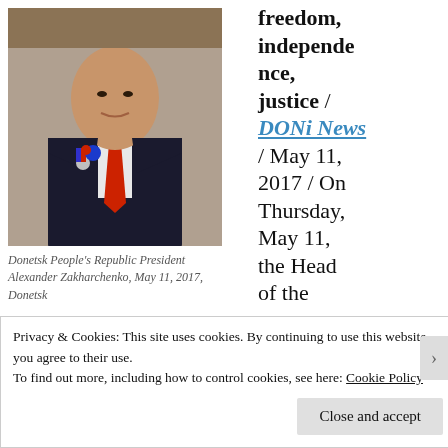[Figure (photo): Donetsk People's Republic President Alexander Zakharchenko wearing a dark suit with red tie and medals, photographed on May 11, 2017 in Donetsk]
Donetsk People's Republic President Alexander Zakharchenko, May 11, 2017, Donetsk
freedom, independence, justice / DONi News / May 11, 2017 / On Thursday, May 11, the Head of the Donetsk People's Republic Alexander Zakharchenko held an official meeting with representatives of foreign delegations
Privacy & Cookies: This site uses cookies. By continuing to use this website, you agree to their use.
To find out more, including how to control cookies, see here: Cookie Policy